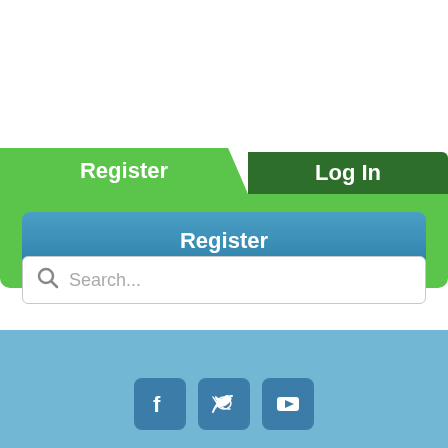[Figure (screenshot): Register tab (active, light green) and Log In tab (dark green) navigation tabs]
[Figure (screenshot): Blue 'Register' button inside green panel]
[Figure (screenshot): Search bar with magnifying glass icon and placeholder text 'Search...']
[Figure (screenshot): Social media icons: Facebook, Twitter, YouTube on light blue footer background]